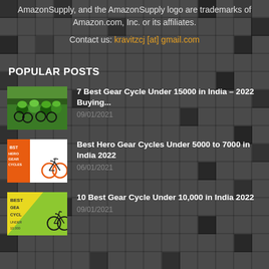AmazonSupply, and the AmazonSupply logo are trademarks of Amazon.com, Inc. or its affiliates.
Contact us: kravitzcj [at] gmail.com
POPULAR POSTS
[Figure (photo): Cyclists racing in green jerseys]
7 Best Gear Cycle Under 15000 in India – 2022 Buying...
09/01/2021
[Figure (photo): Best Hero Gear Cycles promotional image with orange bicycle]
Best Hero Gear Cycles Under 5000 to 7000 in India 2022
06/01/2021
[Figure (photo): Best Gear Cycle Under 10000 promotional image with green background]
10 Best Gear Cycle Under 10,000 in India 2022
09/01/2021